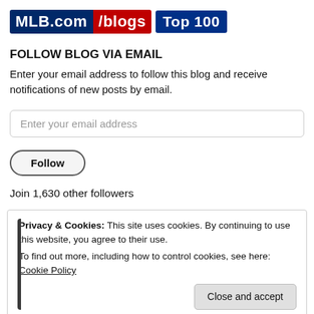[Figure (logo): MLB.com/blogs Top 100 logo badge with blue and red background segments]
FOLLOW BLOG VIA EMAIL
Enter your email address to follow this blog and receive notifications of new posts by email.
Enter your email address
Follow
Join 1,630 other followers
Privacy & Cookies: This site uses cookies. By continuing to use this website, you agree to their use.
To find out more, including how to control cookies, see here: Cookie Policy
Close and accept